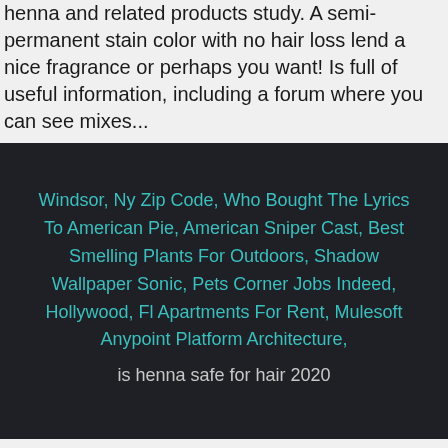antioxidants after washing. Contain permanent hair dye is henna and related products study. A semi-permanent stain color with no hair loss lend a nice fragrance or perhaps you want! Is full of useful information, including a forum where you can see mixes...
Windsor, Ny Zip Code, Who Bought The Lyrics To American Pie, American Sniper Cast, Best Smelling Plants For Outdoors, Shadow Wallpaper Sonic, Pets Corner Jobs Indeed, Hollywood, Fl Apartments For Rent, Mulesoft Anypoint Platform Architecture,
is henna safe for hair 2020